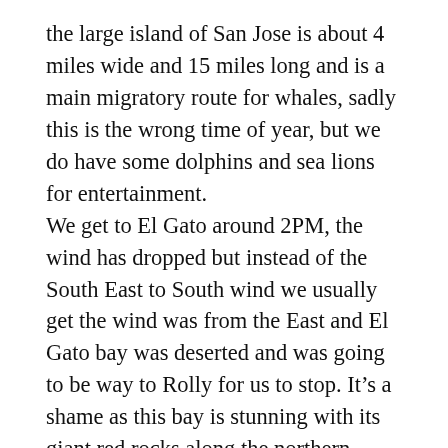the large island of San Jose is about 4 miles wide and 15 miles long and is a main migratory route for whales, sadly this is the wrong time of year, but we do have some dolphins and sea lions for entertainment. We get to El Gato around 2PM, the wind has dropped but instead of the South East to South wind we usually get the wind was from the East and El Gato bay was deserted and was going to be way to Rolly for us to stop. It’s a shame as this bay is stunning with its giant red rocks along the northern shore, and lively reefs. We motor around the reefs and Arturo takes lots of pictures. At some point on this trip he thanks me for showing him Mexico, a nice compliment, coming from a Mexican. There’s